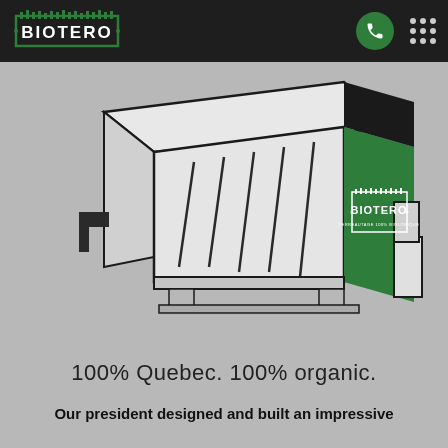BIOTERO
[Figure (illustration): Illustration of a Biotero composting/soil machine/hopper with green branding panel showing BIOTERO logo and text TERREAUTAGE 100% BIOLOGIQUE]
100% Quebec. 100% organic.
Our president designed and built an impressive